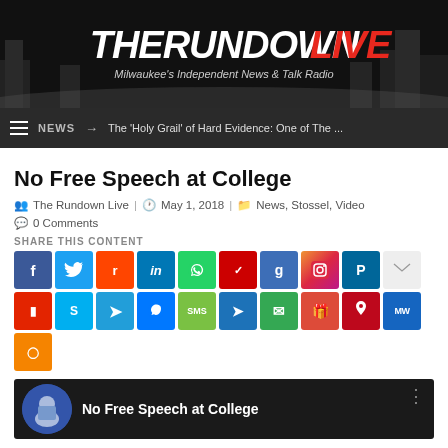[Figure (logo): The Rundown Live logo banner with city skyline silhouette. White and red text on black background reading THERUNDOWN LIVE with subtitle Milwaukee's Independent News & Talk Radio]
NEWS → The 'Holy Grail' of Hard Evidence: One of The ...
No Free Speech at College
The Rundown Live   May 1, 2018   News, Stossel, Video
0 Comments
SHARE THIS CONTENT
[Figure (screenshot): Row of social media share buttons: Facebook, Twitter, Reddit, LinkedIn, WhatsApp, Mix, Google+, Instagram, Parler, Pocket, Flipboard, Skype, Telegram, Messenger, SMS, Pin, Email, Gift, Pinterest, MeWe, Share]
[Figure (screenshot): Video thumbnail showing a man in suit with text No Free Speech at College on dark background]